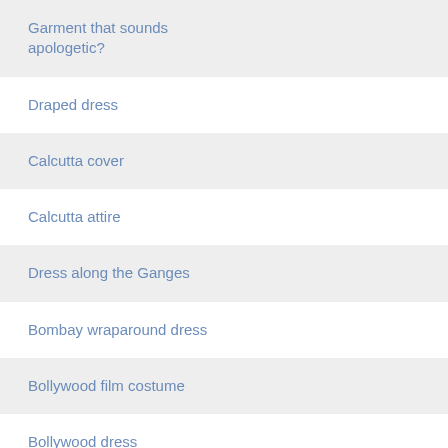Garment that sounds apologetic?
Draped dress
Calcutta cover
Calcutta attire
Dress along the Ganges
Bombay wraparound dress
Bollywood film costume
Bollywood dress
Bollywood costume